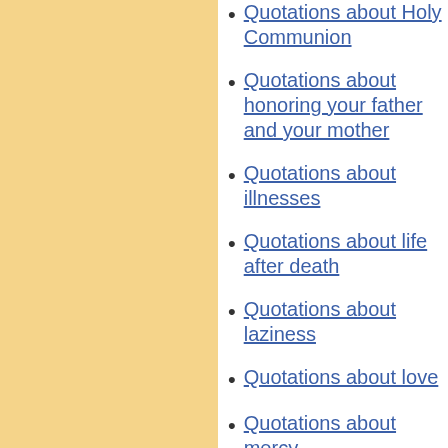Quotations about Holy Communion
Quotations about honoring your father and your mother
Quotations about illnesses
Quotations about life after death
Quotations about laziness
Quotations about love
Quotations about mercy
Християнські цитати украї...
Христианские цитаты на р...
Cytaty Chrześcijańskie...